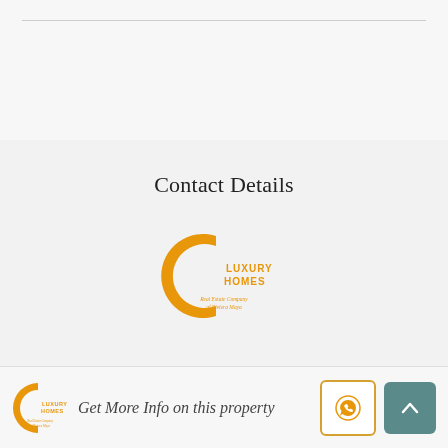[Figure (other): Top decorative divider line on light grey background]
Contact Details
[Figure (logo): C Luxury Homes Real Estate Company of Riviera Maya logo in orange]
[Figure (logo): Small C Luxury Homes logo in footer]
Get More Info on this property
[Figure (other): WhatsApp button icon in orange border box]
[Figure (other): Scroll-to-top arrow button in teal box]